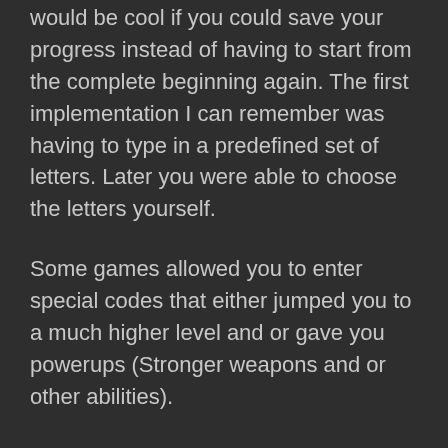would be cool if you could save your progress instead of having to start from the complete beginning again. The first implementation I can remember was having to type in a predefined set of letters. Later you were able to choose the letters yourself.
Some games allowed you to enter special codes that either jumped you to a much higher level and or gave you powerups (Stronger weapons and or other abilities).
These codes, or should I say the discovery and publication of the codes became a big part of any gamers life. I fondly remember being seen as a hero because I knew the codes regarding some now forgotten features in Sonic the Hedgehog on Sega's Megadrive.